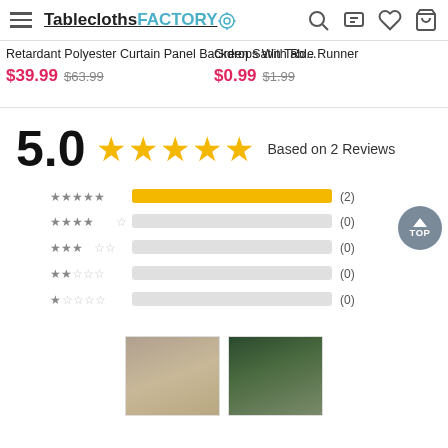TableclothsFACTORY
Retardant Polyester Curtain Panel Backdrops With Ro... $39.99 $63.99 | Green Satin Table Runner $0.99 $1.99 | Chiff Back... $15...
5.0 ★★★★★ Based on 2 Reviews
[Figure (bar-chart): Star rating distribution]
[Figure (photo): Two review photos showing event backdrop setups]